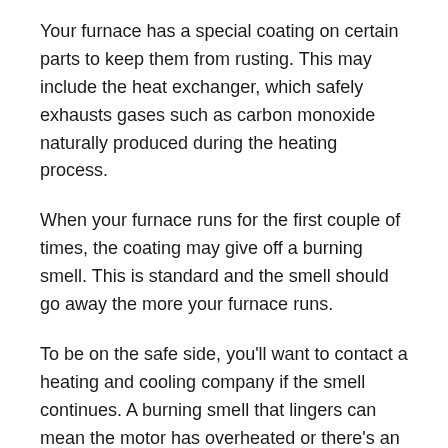Your furnace has a special coating on certain parts to keep them from rusting. This may include the heat exchanger, which safely exhausts gases such as carbon monoxide naturally produced during the heating process.
When your furnace runs for the first couple of times, the coating may give off a burning smell. This is standard and the smell should go away the more your furnace runs.
To be on the safe side, you'll want to contact a heating and cooling company if the smell continues. A burning smell that lingers can mean the motor has overheated or there's an electrical problem, among other issues.
Dust